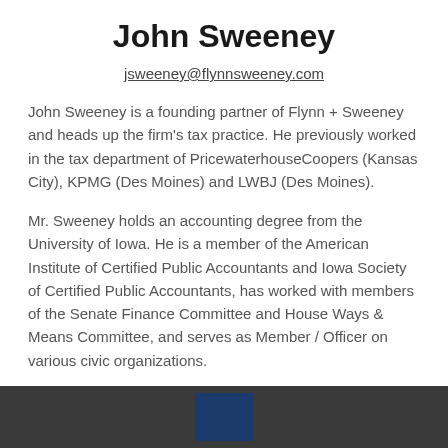John Sweeney
jsweeney@flynnsweeney.com
John Sweeney is a founding partner of Flynn + Sweeney and heads up the firm's tax practice. He previously worked in the tax department of PricewaterhouseCoopers (Kansas City), KPMG (Des Moines) and LWBJ (Des Moines).
Mr. Sweeney holds an accounting degree from the University of Iowa. He is a member of the American Institute of Certified Public Accountants and Iowa Society of Certified Public Accountants, has worked with members of the Senate Finance Committee and House Ways & Means Committee, and serves as Member / Officer on various civic organizations.
[Figure (logo): Dark footer bar with a dark navy blue square logo/box centered]